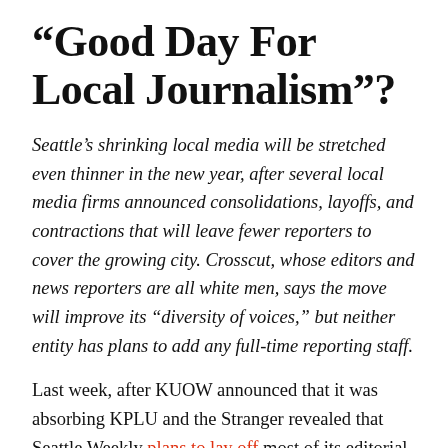“Good Day For Local Journalism”?
Seattle’s shrinking local media will be stretched even thinner in the new year, after several local media firms announced consolidations, layoffs, and contractions that will leave fewer reporters to cover the growing city. Crosscut, whose editors and news reporters are all white men, says the move will improve its “diversity of voices,” but neither entity has plans to add any full-time reporting staff.
Last week, after KUOW announced that it was absorbing KPLU and the Stranger revealed that Seattle Weekly plans to lay off most of its editorial staff, Crosscut, the oldest would-be alternative...